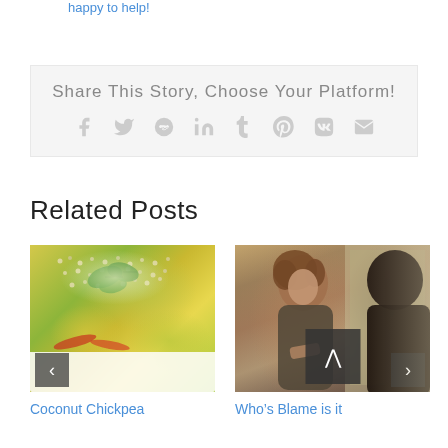happy to help!
Share This Story, Choose Your Platform!
[Figure (infographic): Social sharing icons: Facebook, Twitter, Reddit, LinkedIn, Tumblr, Pinterest, VK, Email]
Related Posts
[Figure (photo): Coconut chickpea curry dish with quinoa and greens]
Coconut Chickpea
[Figure (photo): Two people in conversation, movie still — Who's Blame is it]
Who’s Blame is it